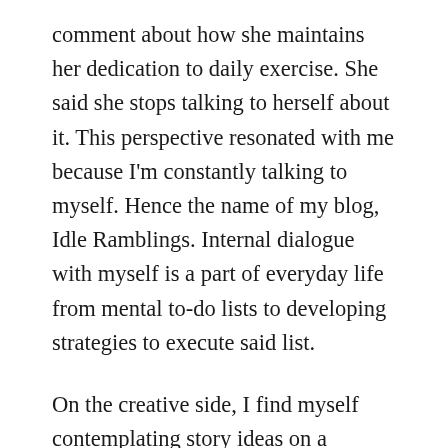comment about how she maintains her dedication to daily exercise. She said she stops talking to herself about it. This perspective resonated with me because I'm constantly talking to myself. Hence the name of my blog, Idle Ramblings. Internal dialogue with myself is a part of everyday life from mental to-do lists to developing strategies to execute said list.
On the creative side, I find myself contemplating story ideas on a regular basis. These thoughts are usually prompted by various accounts I follow on social media. My mind drifts off pondering the what-if scenarios, which happens to be another creative writing drill. To continue the stream of consciousness exercise, I'm going to dictate my thoughts to see what comes out of